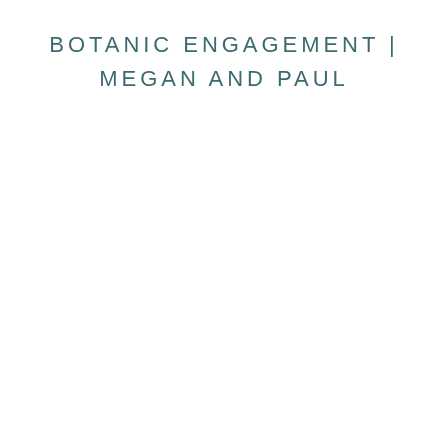BOTANIC ENGAGEMENT | MEGAN AND PAUL